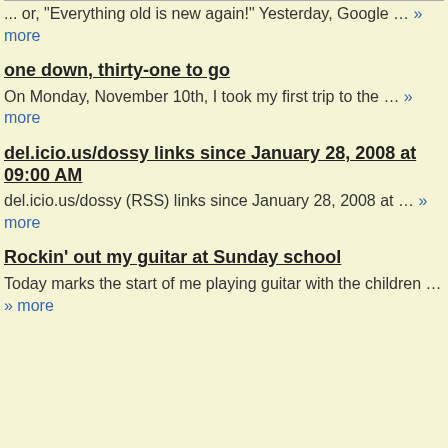... or, "Everything old is new again!" Yesterday, Google … » more
one down, thirty-one to go
On Monday, November 10th, I took my first trip to the … » more
del.icio.us/dossy links since January 28, 2008 at 09:00 AM
del.icio.us/dossy (RSS) links since January 28, 2008 at … » more
Rockin' out my guitar at Sunday school
Today marks the start of me playing guitar with the children … » more